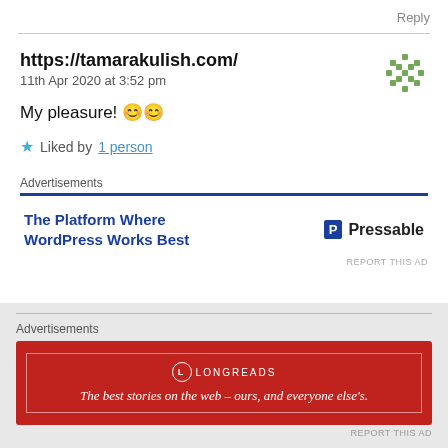Reply
https://tamarakulish.com/
11th Apr 2020 at 3:52 pm
My pleasure! 😊😊
★ Liked by 1 person
Advertisements
[Figure (other): Ad banner: The Platform Where WordPress Works Best — Pressable logo]
REPORT THIS AD
Advertisements
[Figure (other): Longreads ad: The best stories on the web – ours, and everyone else's.]
REPORT THIS AD